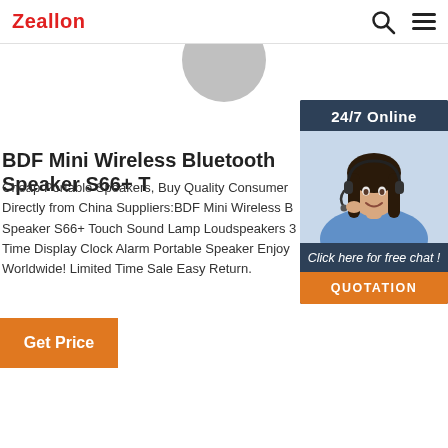Zeallon
[Figure (photo): Partial view of a product (grey circular object) at the top center of the page]
BDF Mini Wireless Bluetooth Speaker S66+ T
Cheap Portable Speakers, Buy Quality Consumer Directly from China Suppliers:BDF Mini Wireless B Speaker S66+ Touch Sound Lamp Loudspeakers 3 Time Display Clock Alarm Portable Speaker Enjoy Worldwide! Limited Time Sale Easy Return.
[Figure (infographic): 24/7 Online chat widget with a woman wearing a headset, 'Click here for free chat!' text, and an orange QUOTATION button]
Get Price